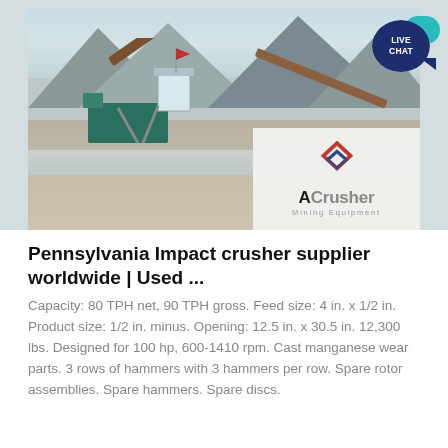[Figure (photo): Aerial view of a mining/crushing site with conveyor belts, green machinery, rocky riverbed terrain, and mountains in background. ACrusher Mining Equipment logo overlaid in bottom right corner. Live Chat bubble in top right.]
Pennsylvania Impact crusher supplier worldwide | Used ...
Capacity: 80 TPH net, 90 TPH gross. Feed size: 4 in. x 1/2 in. Product size: 1/2 in. minus. Opening: 12.5 in. x 30.5 in. 12,300 lbs. Designed for 100 hp, 600-1410 rpm. Cast manganese wear parts. 3 rows of hammers with 3 hammers per row. Spare rotor assemblies. Spare hammers. Spare discs.